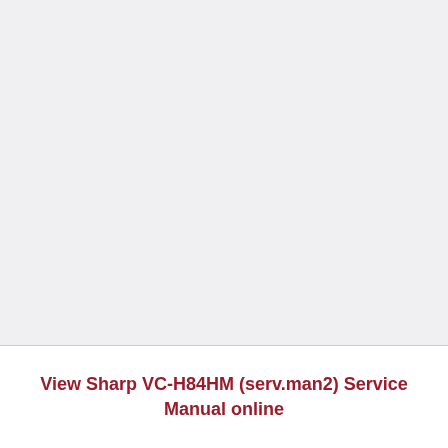View Sharp VC-H84HM (serv.man2) Service Manual online